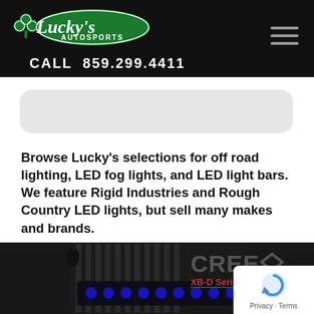Lucky's Autosports — CALL 859.299.4411
[Figure (screenshot): Search input box placeholder area, light gray rounded rectangle]
Browse Lucky's selections for off road lighting, LED fog lights, and LED light bars. We feature Rigid Industries and Rough Country LED lights, but sell many makes and brands.
[Figure (photo): LED light bar product photo showing black aluminum housing with CREE XB-D Series LED branding]
[Figure (logo): reCAPTCHA privacy badge with Privacy and Terms links]